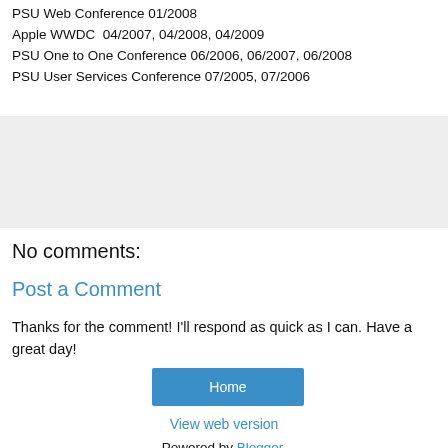PSU Web Conference 01/2008
Apple WWDC  04/2007, 04/2008, 04/2009
PSU One to One Conference 06/2006, 06/2007, 06/2008
PSU User Services Conference 07/2005, 07/2006
[Figure (other): Gray rectangle placeholder/comment box area]
No comments:
Post a Comment
Thanks for the comment! I'll respond as quick as I can. Have a great day!
Home
View web version
Powered by Blogger.